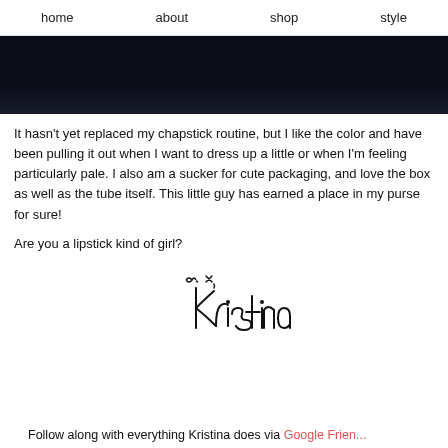home   about   shop   style
[Figure (photo): Dark/black background image, cropped at top]
It hasn't yet replaced my chapstick routine, but I like the color and have been pulling it out when I want to dress up a little or when I'm feeling particularly pale. I also am a sucker for cute packaging, and love the box as well as the tube itself. This little guy has earned a place in my purse for sure!
Are you a lipstick kind of girl?
[Figure (illustration): Handwritten cursive signature reading 'x, Kristina']
Follow along with everything Kristina does via Google Frien...